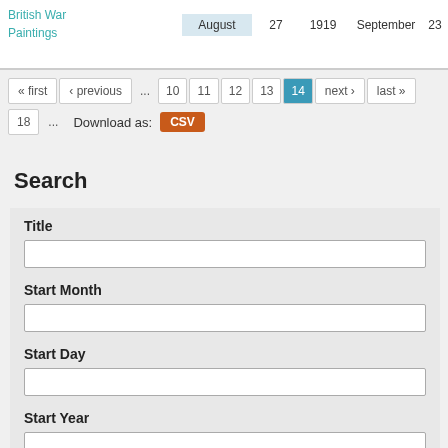| Title | Start Month | Start Day | Start Year | End Month | End Day |
| --- | --- | --- | --- | --- | --- |
| British War Paintings | August | 27 | 1919 | September | 23 |
« first ‹ previous ... 10 11 12 13 14 next › last » 18 ...
Download as: CSV
Search
Title
Start Month
Start Day
Start Year